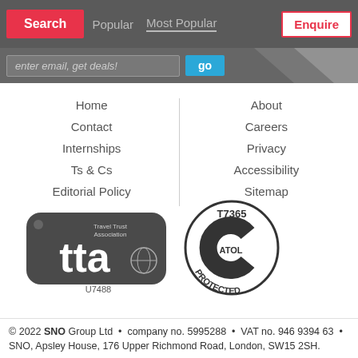Search | Popular | Most Popular | Enquire
enter email, get deals! go
Home
Contact
Internships
Ts & Cs
Editorial Policy
About
Careers
Privacy
Accessibility
Sitemap
[Figure (logo): Travel Trust Association TTA logo badge U7488]
[Figure (logo): ATOL Protected T7365 circular stamp logo]
© 2022 SNO Group Ltd • company no. 5995288 • VAT no. 946 9394 63 • SNO, Apsley House, 176 Upper Richmond Road, London, SW15 2SH.